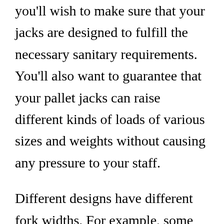you'll wish to make sure that your jacks are designed to fulfill the necessary sanitary requirements. You'll also want to guarantee that your pallet jacks can raise different kinds of loads of various sizes and weights without causing any pressure to your staff.
Different designs have different fork widths. For example, some have seven or nine-inch widths, while others have a variety in between twenty and forty-seven-inch widths. The width of the carriage is known as the load-bearing period. In addition, some designs include adjustable carriage